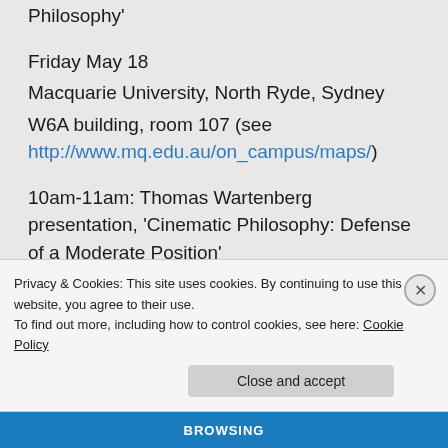Thomas Wartenberg on 'Cinematic Philosophy'
Friday May 18
Macquarie University, North Ryde, Sydney
W6A building, room 107 (see http://www.mq.edu.au/on_campus/maps/)
10am-11am: Thomas Wartenberg presentation, 'Cinematic Philosophy: Defense of a Moderate Position'
11am-11.15am: Response by Robert
Privacy & Cookies: This site uses cookies. By continuing to use this website, you agree to their use.
To find out more, including how to control cookies, see here: Cookie Policy